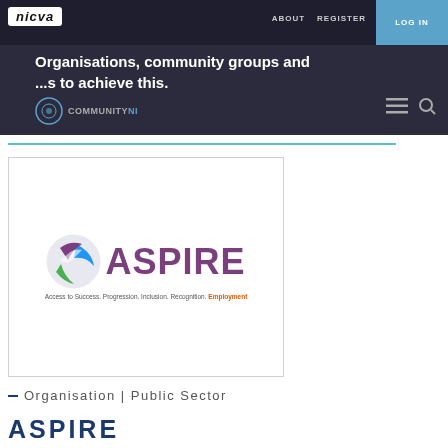NICVA | ABOUT  REGISTER  LOG IN
Organisations, community groups and
...s to achieve this.
[Figure (logo): ASPIRE logo with circular bird icon in purple, blue and green. Text reads: ASPIRE. Tagline: Access to Success. Progression. Inclusion. Recognition. Employment.]
– Organisation | Public Sector
ASPIRE